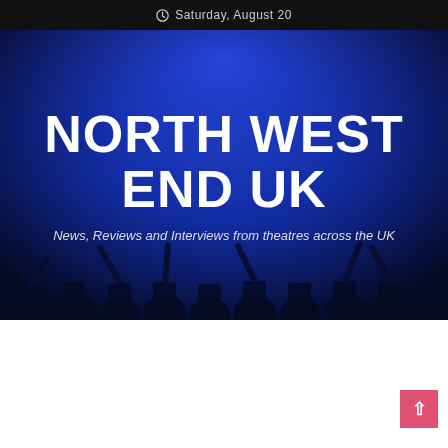Saturday, August 20
NORTH WEST END UK
News, Reviews and Interviews from theatres across the UK
[Figure (photo): Concert crowd silhouettes lit by blue stage lighting, forming the hero background of the North West End UK website]